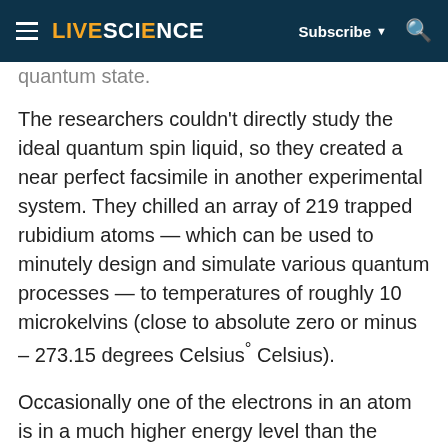LIVESCIENCE  Subscribe  🔍
quantum state.
The researchers couldn't directly study the ideal quantum spin liquid, so they created a near perfect facsimile in another experimental system. They chilled an array of 219 trapped rubidium atoms — which can be used to minutely design and simulate various quantum processes — to temperatures of roughly 10 microkelvins (close to absolute zero or minus – 273.15 degrees Celsius° Celsius).
Occasionally one of the electrons in an atom is in a much higher energy level than the others, putting the atom in what is known as a Rydberg state. Much like with spin states, the spooky rules of quantum